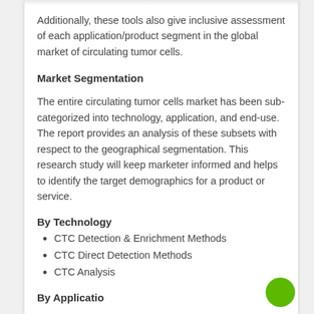Additionally, these tools also give inclusive assessment of each application/product segment in the global market of circulating tumor cells.
Market Segmentation
The entire circulating tumor cells market has been sub-categorized into technology, application, and end-use. The report provides an analysis of these subsets with respect to the geographical segmentation. This research study will keep marketer informed and helps to identify the target demographics for a product or service.
By Technology
CTC Detection & Enrichment Methods
CTC Direct Detection Methods
CTC Analysis
By Application